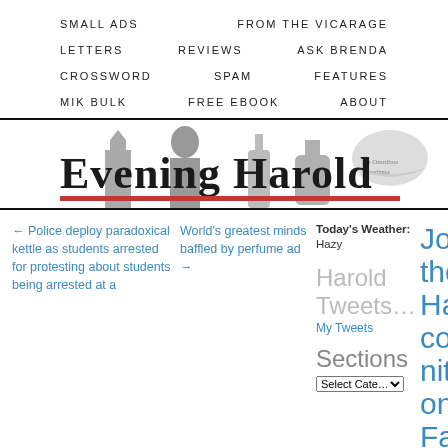SMALL ADS | FROM THE VICARAGE
LETTERS | REVIEWS | ASK BRENDA
CROSSWORD | SPAM | FEATURES
MIK BULK | FREE EBOOK | ABOUT
[Figure (logo): Evening Harold newspaper masthead banner with silhouette figures and old English blackletter font title 'Evening Harold', red underline bar]
← Police deploy paradoxical kettle as students arrested for protesting about students being arrested at a
World's greatest minds baffled by perfume ad →
Today's Weather: Hazy
Harold Tweets…
My Tweets
Sections
Select Cate...
Join the Harold community on Facebook